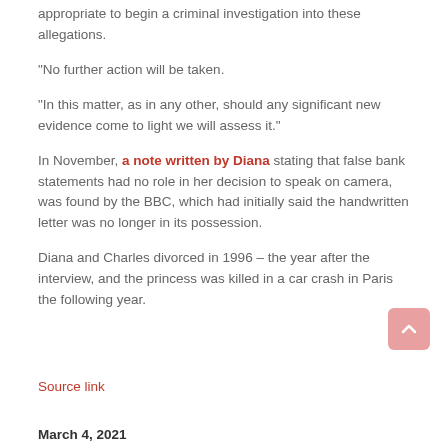appropriate to begin a criminal investigation into these allegations.
“No further action will be taken.
“In this matter, as in any other, should any significant new evidence come to light we will assess it.”
In November, a note written by Diana stating that false bank statements had no role in her decision to speak on camera, was found by the BBC, which had initially said the handwritten letter was no longer in its possession.
Diana and Charles divorced in 1996 – the year after the interview, and the princess was killed in a car crash in Paris the following year.
Source link
March 4, 2021